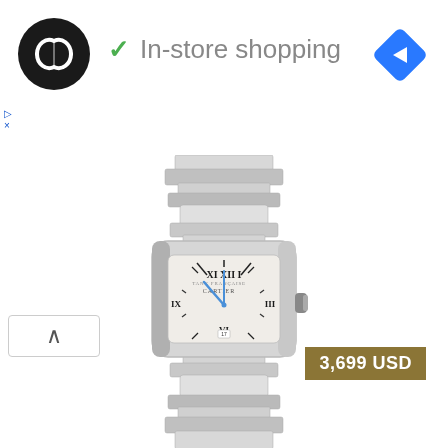[Figure (logo): Black circular logo with overlapping arrow/infinity symbols in white]
✓ In-store shopping
[Figure (logo): Blue diamond navigation/directions icon]
▷
×
[Figure (photo): Cartier Tank Française stainless steel watch with metal bracelet, silver/white dial with Roman numerals, blue hands, and date window. Price: 3,699 USD]